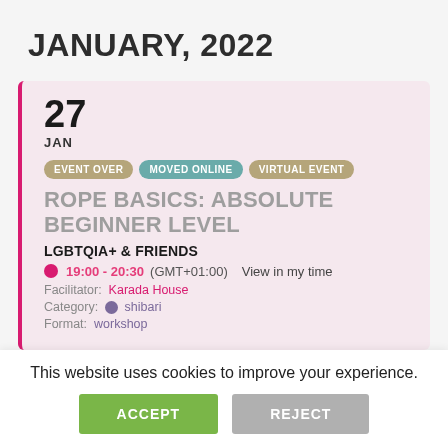JANUARY, 2022
27
JAN
EVENT OVER  MOVED ONLINE  VIRTUAL EVENT
ROPE BASICS: ABSOLUTE BEGINNER LEVEL
LGBTQIA+ & FRIENDS
19:00 - 20:30 (GMT+01:00)   View in my time
Facilitator:  Karada House
Category:  shibari
Format:  workshop
This website uses cookies to improve your experience.
ACCEPT
REJECT